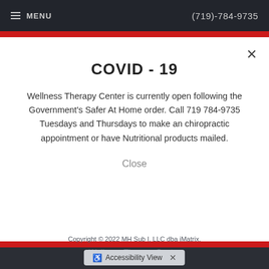≡ MENU    (719)-784-9735
COVID - 19
Wellness Therapy Center is currently open following the Government's Safer At Home order. Call 719 784-9735 Tuesdays and Thursdays to make an chiropractic appointment or have Nutritional products mailed.
Close
Wellness Therapy Center
Copyright © 2022 MH Sub I, LLC dba iMatrix.
♿ Accessibility View  ×